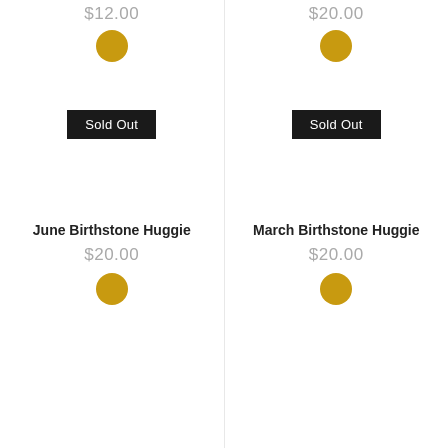$12.00
[Figure (other): Gold colored circle dot indicator]
Sold Out
$20.00
[Figure (other): Gold colored circle dot indicator]
Sold Out
June Birthstone Huggie
$20.00
[Figure (other): Gold colored circle dot indicator]
March Birthstone Huggie
$20.00
[Figure (other): Gold colored circle dot indicator]